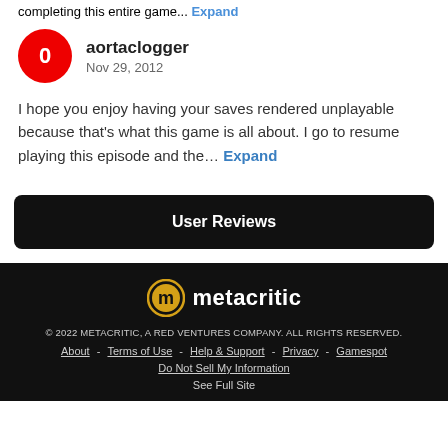completing this entire game... Expand
aortaclogger
Nov 29, 2012
I hope you enjoy having your saves rendered unplayable because that's what this game is all about. I go to resume playing this episode and the... Expand
User Reviews
[Figure (logo): Metacritic logo with gold circle M icon and white text 'metacritic']
© 2022 METACRITIC, A RED VENTURES COMPANY. ALL RIGHTS RESERVED.
About - Terms of Use - Help & Support - Privacy - Gamespot
Do Not Sell My Information
See Full Site